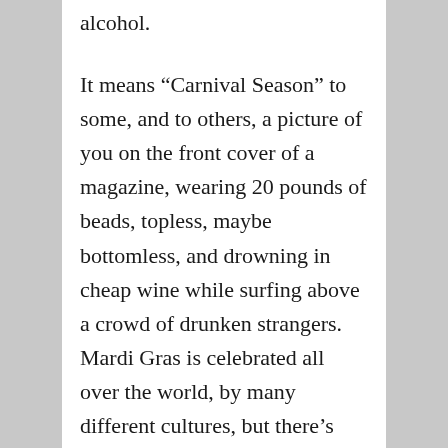alcohol.
It means “Carnival Season” to some, and to others, a picture of you on the front cover of a magazine, wearing 20 pounds of beads, topless, maybe bottomless, and drowning in cheap wine while surfing above a crowd of drunken strangers.  Mardi Gras is celebrated all over the world, by many different cultures, but there’s one particular place that has made Mardi Gras what you think it is today.
You guessed it!  The one place in the world